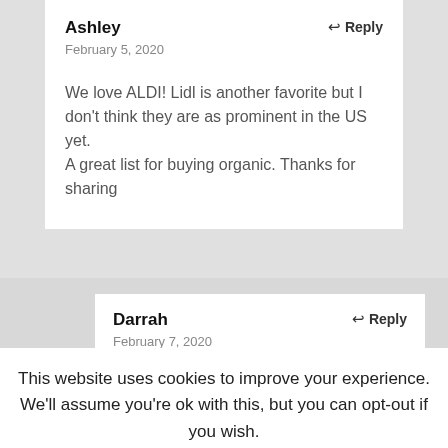Ashley
February 5, 2020
Reply
We love ALDI! Lidl is another favorite but I don't think they are as prominent in the US yet.
A great list for buying organic. Thanks for sharing
Darrah
February 7, 2020
Reply
We've heard rumors of Lidl coming to the area… I've
This website uses cookies to improve your experience. We'll assume you're ok with this, but you can opt-out if you wish.
[Figure (infographic): Social sharing bar with Facebook, Pinterest, Instagram, Email, and Share icons on a green background]